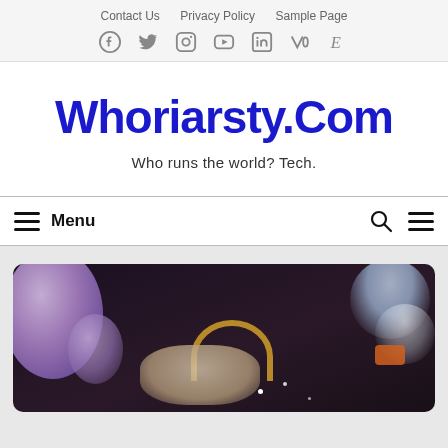Contact Us  Privacy Policy  Sample Page
[Figure (other): Social media icons row: Facebook, Twitter, Instagram, YouTube, LinkedIn, Medium, Etsy]
Whoriarsty.Com
Who runs the world? Tech.
Menu
[Figure (photo): Blurred close-up photo showing purple balloons, a golden handbag, glassware, and colorful items on a dark background]